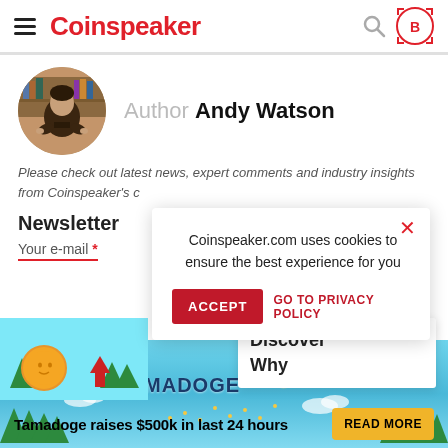Coinspeaker
[Figure (photo): Author avatar photo of Andy Watson, a young man in a dark shirt]
Author Andy Watson
Please check out latest news, expert comments and industry insights from Coinspeaker's c…
Newsletter
Your e-mail *
Coinspeaker.com uses cookies to ensure the best experience for you
ACCEPT   GO TO PRIVACY POLICY
Discover Why
[Figure (infographic): Tamadoge advertisement banner with logo, dog illustration and trees]
Tamadoge raises $500k in last 24 hours   READ MORE